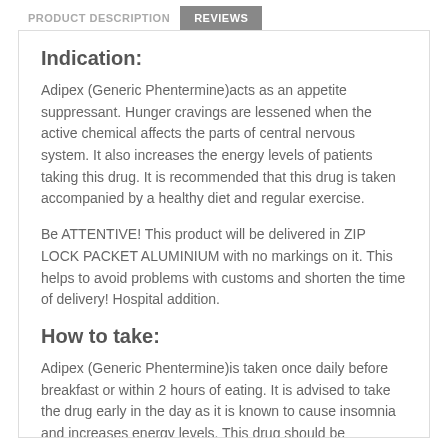PRODUCT DESCRIPTION | REVIEWS
Indication:
Adipex (Generic Phentermine)acts as an appetite suppressant. Hunger cravings are lessened when the active chemical affects the parts of central nervous system. It also increases the energy levels of patients taking this drug. It is recommended that this drug is taken accompanied by a healthy diet and regular exercise.
Be ATTENTIVE! This product will be delivered in ZIP LOCK PACKET ALUMINIUM with no markings on it. This helps to avoid problems with customs and shorten the time of delivery! Hospital addition.
How to take:
Adipex (Generic Phentermine)is taken once daily before breakfast or within 2 hours of eating. It is advised to take the drug early in the day as it is known to cause insomnia and increases energy levels. This drug should be swallowed whole